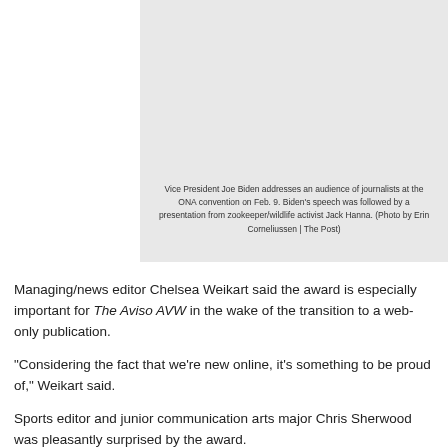[Figure (photo): Photo of Vice President Joe Biden addressing an audience of journalists at the ONA convention on Feb. 9. The image area is shown as a light gray placeholder.]
Vice President Joe Biden addresses an audience of journalists at the ONA convention on Feb. 9. Biden's speech was followed by a presentation from zookeeper/wildlife activist Jack Hanna. (Photo by Erin Corneliussen | The Post)
Managing/news editor Chelsea Weikart said the award is especially important for The Aviso AVW in the wake of the transition to a web-only publication.
“Considering the fact that we’re new online, it’s something to be proud of,” Weikart said.
Sports editor and junior communication arts major Chris Sherwood was pleasantly surprised by the award.
“I kind of thought we might do well, but I didn’t expect to get